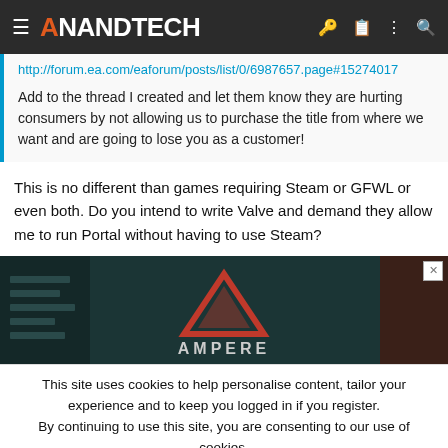AnandTech
http://forum.ea.com/eaforum/posts/list/0/6987657.page#15274017
Add to the thread I created and let them know they are hurting consumers by not allowing us to purchase the title from where we want and are going to lose you as a customer!
This is no different than games requiring Steam or GFWL or even both. Do you intend to write Valve and demand they allow me to run Portal without having to use Steam?
[Figure (screenshot): Advertisement banner for AMPERE with dark background, showing a triangular logo in orange/red]
This site uses cookies to help personalise content, tailor your experience and to keep you logged in if you register. By continuing to use this site, you are consenting to our use of cookies.